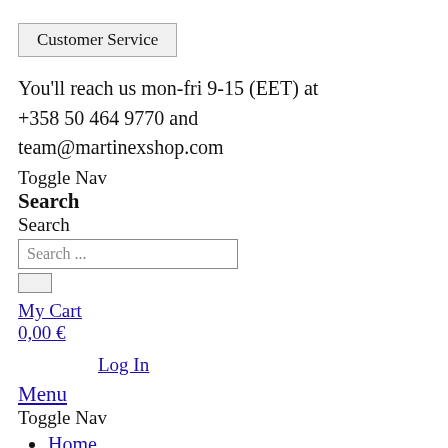Customer Service
You'll reach us mon-fri 9-15 (EET) at
+358 50 464 9770 and
team@martinexshop.com
Toggle Nav
Search
Search
My Cart
0,00 €
Log In
Menu
Toggle Nav
Home